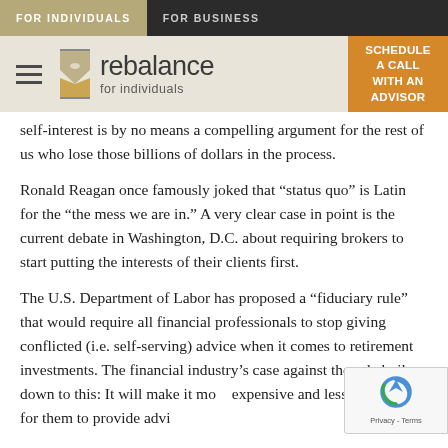FOR INDIVIDUALS | FOR BUSINESS
[Figure (logo): Rebalance for individuals logo with hamburger menu and hourglass icon]
self-interest is by no means a compelling argument for the rest of us who lose those billions of dollars in the process.
Ronald Reagan once famously joked that “status quo” is Latin for the “the mess we are in.” A very clear case in point is the current debate in Washington, D.C. about requiring brokers to start putting the interests of their clients first.
The U.S. Department of Labor has proposed a “fiduciary rule” that would require all financial professionals to stop giving conflicted (i.e. self-serving) advice when it comes to retirement investments. The financial industry’s case against the rule boils down to this: It will make it more expensive and less profitable for them to provide advice to retirement savers. And they will be willing to provide